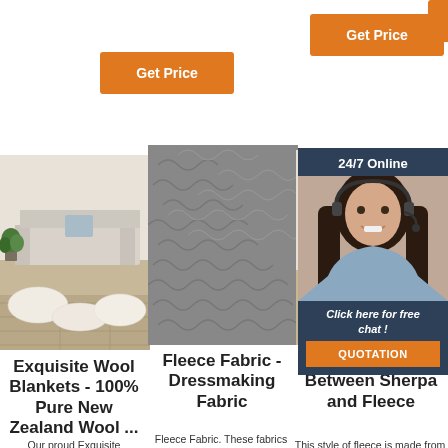[Figure (other): Three orange 'Get Price' buttons arranged in a staggered row at the top of the page]
[Figure (photo): Photo of white sheepskin/wool rugs laid on a wooden floor in a living room]
[Figure (photo): Close-up photo of grey curly fleece fabric texture]
[Figure (photo): Photo of a white fluffy sherpa/fleece product on a decorative stool]
[Figure (other): 24/7 online customer service chat widget with photo of smiling woman with headset, 'Click here for free chat!' text, and orange QUOTATION button]
Exquisite Wool Blankets - 100% Pure New Zealand Wool ...
Fleece Fabric - Dressmaking Fabric
Difference Between Sherpa and Fleece
Our proud Exquisite
Fleece Fabric. These fabrics are washable, quick drying, super soft,
This style of fleece is made from